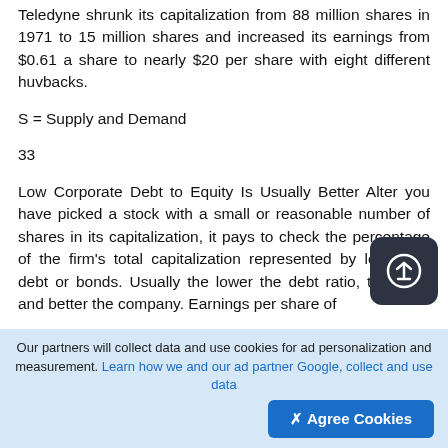Teledyne shrunk its capitalization from 88 million shares in 1971 to 15 million shares and increased its earnings from $0.61 a share to nearly $20 per share with eight different huvbacks.
S = Supply and Demand
33
Low Corporate Debt to Equity Is Usually Better Alter you have picked a stock with a small or reasonable number of shares in its capitalization, it pays to check the percentage of the firm's total capitalization represented by long-term debt or bonds. Usually the lower the debt ratio, the safer and better the company. Earnings per share of